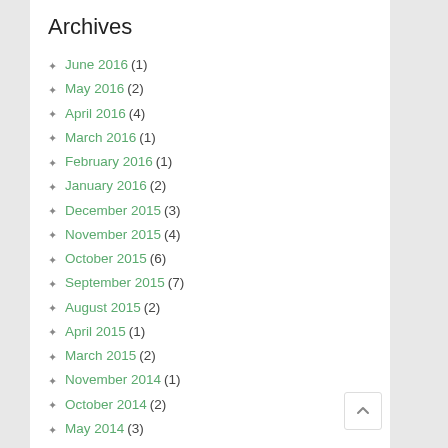Archives
June 2016 (1)
May 2016 (2)
April 2016 (4)
March 2016 (1)
February 2016 (1)
January 2016 (2)
December 2015 (3)
November 2015 (4)
October 2015 (6)
September 2015 (7)
August 2015 (2)
April 2015 (1)
March 2015 (2)
November 2014 (1)
October 2014 (2)
May 2014 (3)
March 2014 (1)